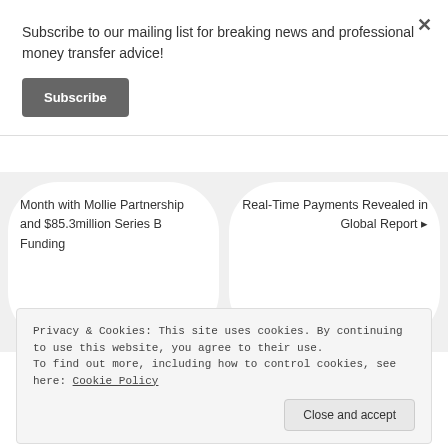Subscribe to our mailing list for breaking news and professional money transfer advice!
Subscribe
Month with Mollie Partnership and $85.3million Series B Funding
Real-Time Payments Revealed in Global Report
Privacy & Cookies: This site uses cookies. By continuing to use this website, you agree to their use.
To find out more, including how to control cookies, see here: Cookie Policy
Close and accept